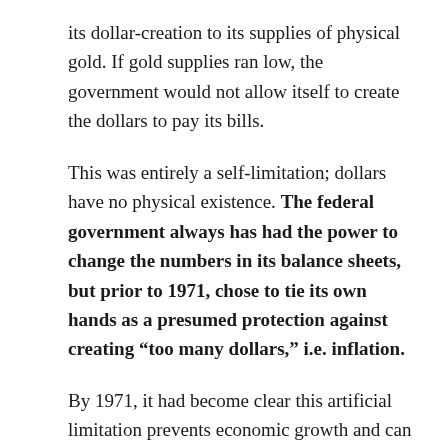its dollar-creation to its supplies of physical gold. If gold supplies ran low, the government would not allow itself to create the dollars to pay its bills.
This was entirely a self-limitation; dollars have no physical existence. The federal government always has had the power to change the numbers in its balance sheets, but prior to 1971, chose to tie its own hands as a presumed protection against creating “too many dollars,” i.e. inflation.
By 1971, it had become clear this artificial limitation prevents economic growth and can cause a self-created bankruptcy. So President Nixon simply removed the limitation. After that date, nothing prevents the federal government from increasing its fictional supply of